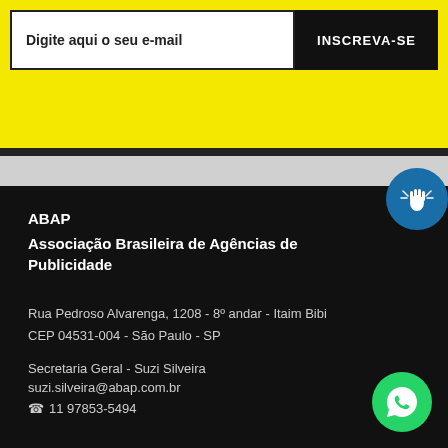Digite aqui o seu e-mail
INSCREVA-SE
[Figure (logo): Accessibility icon button (blue circle with hand/finger gesture)]
ABAP
Associação Brasileira de Agências de Publicidade
Rua Pedroso Alvarenga, 1208 - 8º andar - Itaim Bibi
CEP 04531-004 - São Paulo - SP
Secretaria Geral - Suzi Silveira
suzi.silveira@abap.com.br
☎ 11 97853-5494
[Figure (logo): WhatsApp green circle button with phone icon]